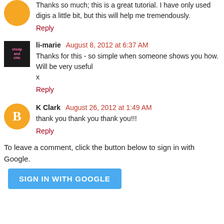Thanks so much; this is a great tutorial. I have only used digis a little bit, but this will help me tremendously.
Reply
li-marie  August 8, 2012 at 6:37 AM
Thanks for this - so simple when someone shows you how. Will be very useful
x
Reply
K Clark  August 26, 2012 at 1:49 AM
thank you thank you thank you!!!
Reply
To leave a comment, click the button below to sign in with Google.
SIGN IN WITH GOOGLE